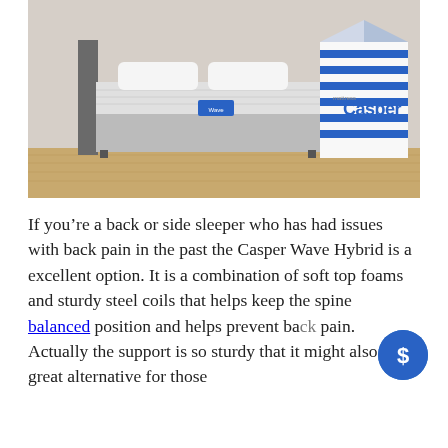[Figure (photo): A Casper Wave Hybrid mattress on a bed frame with white pillows in a room with light wood flooring, next to a large white and blue striped Casper branded box]
If you’re a back or side sleeper who has had issues with back pain in the past the Casper Wave Hybrid is a excellent option. It is a combination of soft top foams and sturdy steel coils that helps keep the spine balanced position and helps prevent back pain. Actually the support is so sturdy that it might also be a great alternative for those